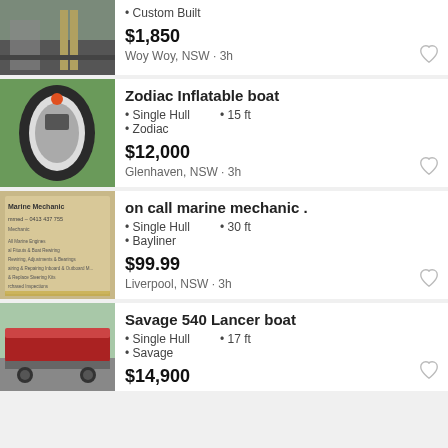Custom Built | $1,850 | Woy Woy, NSW · 3h
Zodiac Inflatable boat | Single Hull | 15 ft | Zodiac | $12,000 | Glenhaven, NSW · 3h
on call marine mechanic . | Single Hull | 30 ft | Bayliner | $99.99 | Liverpool, NSW · 3h
Savage 540 Lancer boat | Single Hull | 17 ft | Savage | $14,900 | Electrana, TAS · 3h